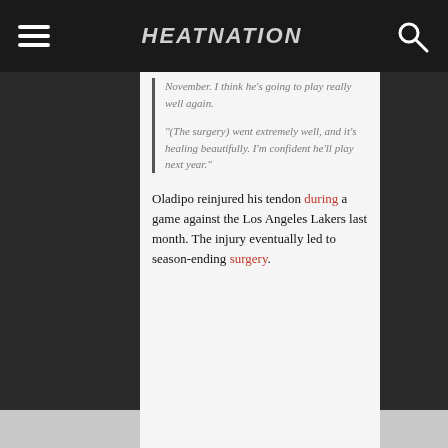HEATNATION
November. I think he's going to play really well again.

"(The surgery) went extremely well, and it's healing beautifully. I'm confident he'll play next year."
Oladipo reinjured his tendon during a game against the Los Angeles Lakers last month. The injury eventually led to season-ending surgery.